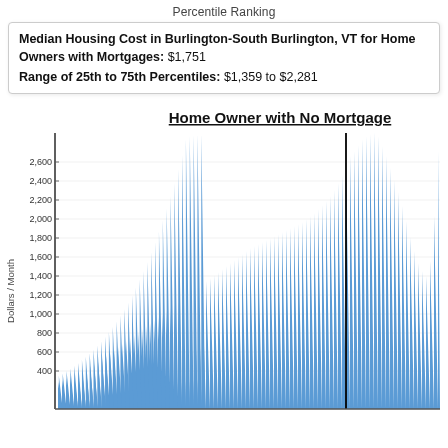Percentile Ranking
Median Housing Cost in Burlington-South Burlington, VT for Home Owners with Mortgages: $1,751
Range of 25th to 75th Percentiles: $1,359 to $2,281
[Figure (bar-chart): Bar chart showing distribution of housing costs across percentile rankings. Bars are sorted in ascending order showing an exponential-like curve. A vertical black line marks a specific percentile. Y-axis ranges from approximately 400 to over 2,800 dollars per month.]